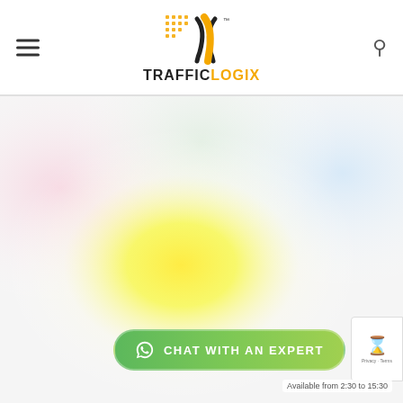[Figure (logo): Traffic Logix logo with stylized road/speed camera icon in orange and black, with the text TRAFFIC in black and LOGIX in orange]
[Figure (illustration): Colorful blurred background with yellow-green glow effect in the center, resembling a traffic or speed detection product image]
CHAT WITH AN EXPERT
Available from 2:30 to 15:30